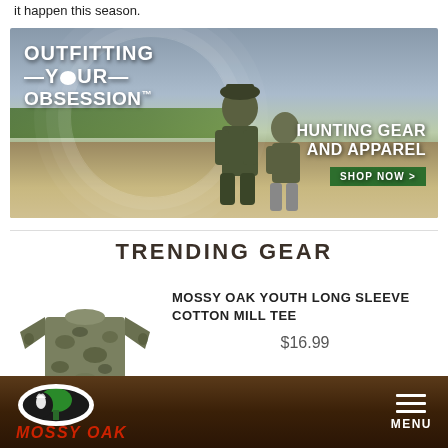it happen this season.
[Figure (photo): Mossy Oak advertisement banner showing two people in camouflage clothing crouching in a field. Text reads 'OUTFITTING YOUR OBSESSION' on the left and 'HUNTING GEAR AND APPAREL SHOP NOW >' on the right.]
TRENDING GEAR
[Figure (photo): Mossy Oak Youth Long Sleeve Cotton Mill Tee in camouflage print]
MOSSY OAK YOUTH LONG SLEEVE COTTON MILL TEE
$16.99
MOSSY OAK  MENU